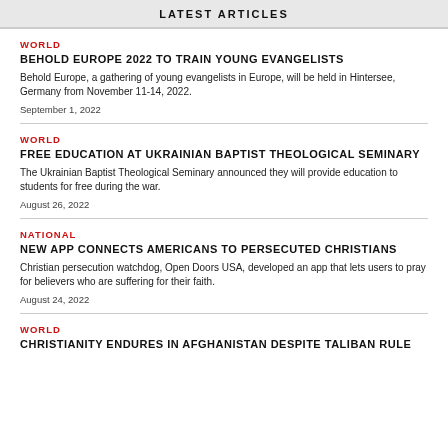LATEST ARTICLES
WORLD
BEHOLD EUROPE 2022 TO TRAIN YOUNG EVANGELISTS
Behold Europe, a gathering of young evangelists in Europe, will be held in Hintersee, Germany from November 11-14, 2022.
September 1, 2022
WORLD
FREE EDUCATION AT UKRAINIAN BAPTIST THEOLOGICAL SEMINARY
The Ukrainian Baptist Theological Seminary announced they will provide education to students for free during the war.
August 26, 2022
NATIONAL
NEW APP CONNECTS AMERICANS TO PERSECUTED CHRISTIANS
Christian persecution watchdog, Open Doors USA, developed an app that lets users to pray for believers who are suffering for their faith.
August 24, 2022
WORLD
CHRISTIANITY ENDURES IN AFGHANISTAN DESPITE TALIBAN RULE